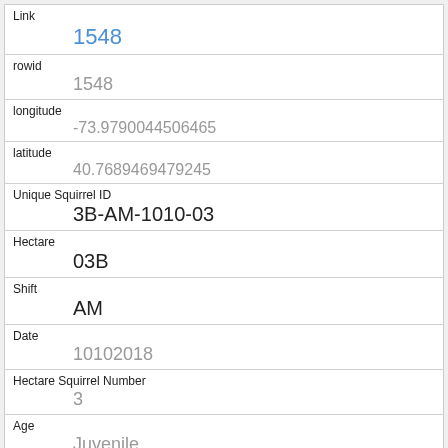| Link | 1548 |
| rowid | 1548 |
| longitude | -73.9790044506465 |
| latitude | 40.7689469479245 |
| Unique Squirrel ID | 3B-AM-1010-03 |
| Hectare | 03B |
| Shift | AM |
| Date | 10102018 |
| Hectare Squirrel Number | 3 |
| Age | Juvenile |